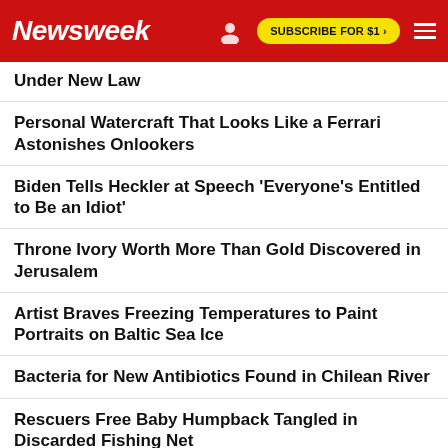Newsweek | SUBSCRIBE FOR $1 >
Under New Law
Personal Watercraft That Looks Like a Ferrari Astonishes Onlookers
Biden Tells Heckler at Speech 'Everyone's Entitled to Be an Idiot'
Throne Ivory Worth More Than Gold Discovered in Jerusalem
Artist Braves Freezing Temperatures to Paint Portraits on Baltic Sea Ice
Bacteria for New Antibiotics Found in Chilean River
Rescuers Free Baby Humpback Tangled in Discarded Fishing Net
Four Key Takeaways From Judge Cannon's Order Granting